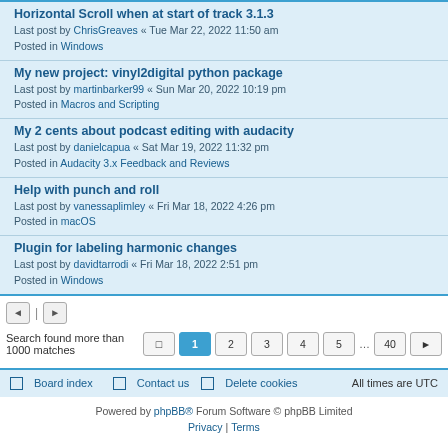Horizontal Scroll when at start of track 3.1.3
Last post by ChrisGreaves « Tue Mar 22, 2022 11:50 am
Posted in Windows
My new project: vinyl2digital python package
Last post by martinbarker99 « Sun Mar 20, 2022 10:19 pm
Posted in Macros and Scripting
My 2 cents about podcast editing with audacity
Last post by danielcapua « Sat Mar 19, 2022 11:32 pm
Posted in Audacity 3.x Feedback and Reviews
Help with punch and roll
Last post by vanessaplimley « Fri Mar 18, 2022 4:26 pm
Posted in macOS
Plugin for labeling harmonic changes
Last post by davidtarrodi « Fri Mar 18, 2022 2:51 pm
Posted in Windows
Search found more than 1000 matches  1 2 3 4 5 … 40
Board index   Contact us   Delete cookies   All times are UTC
Powered by phpBB® Forum Software © phpBB Limited
Privacy | Terms